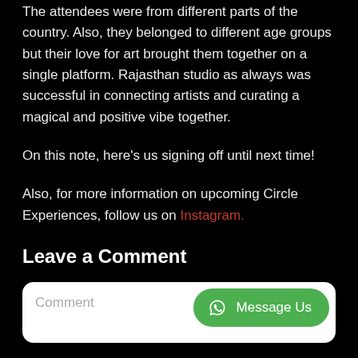The attendees were from different parts of the country. Also, they belonged to different age groups but their love for art brought them together on a single platform. Rajasthan studio as always was successful in connecting artists and curating a magical and positive vibe together.
On this note, here's us signing off until next time!
Also, for more information on upcoming Circle Experiences, follow us on Instagram.
Leave a Comment
[Figure (screenshot): Comment input box with WhatsApp 'Message Us' green button in top-right corner]